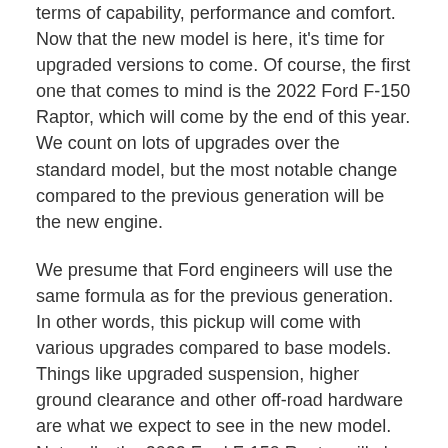terms of capability, performance and comfort. Now that the new model is here, it's time for upgraded versions to come. Of course, the first one that comes to mind is the 2022 Ford F-150 Raptor, which will come by the end of this year. We count on lots of upgrades over the standard model, but the most notable change compared to the previous generation will be the new engine.
We presume that Ford engineers will use the same formula as for the previous generation. In other words, this pickup will come with various upgrades compared to base models. Things like upgraded suspension, higher ground clearance and other off-road hardware are what we expect to see in the new model. Naturally, the 2022 Ford F-150 Raptor will also come with lots of styling details that will accentuate its performance character.